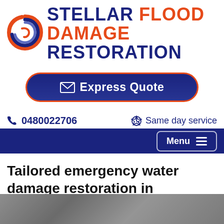[Figure (logo): Stellar Flood Damage Restoration logo with swirl icon in red, blue, and orange, and company name in dark blue and orange]
[Figure (other): Express Quote button with envelope icon, dark blue rounded rectangle with orange border]
0480022706   Same day service
[Figure (other): Dark blue navigation bar with Menu button and hamburger lines on the right]
Tailored emergency water damage restoration in Kanahooka
[Figure (photo): Partially visible photo at the bottom of the page, appears to show a flooded or wet surface in grey tones]